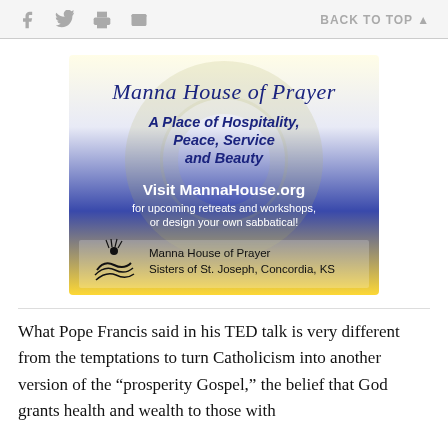f  [twitter]  [print]  [email]   BACK TO TOP ▲
[Figure (illustration): Manna House of Prayer advertisement. Blue/yellow gradient background with a faint circular emblem. Script text 'Manna House of Prayer', italic bold 'A Place of Hospitality, Peace, Service and Beauty', white text 'Visit MannaHouse.org for upcoming retreats and workshops, or design your own sabbatical!', and a logo with 'Manna House of Prayer Sisters of St. Joseph, Concordia, KS'.]
What Pope Francis said in his TED talk is very different from the temptations to turn Catholicism into another version of the “prosperity Gospel,” the belief that God grants health and wealth to those with